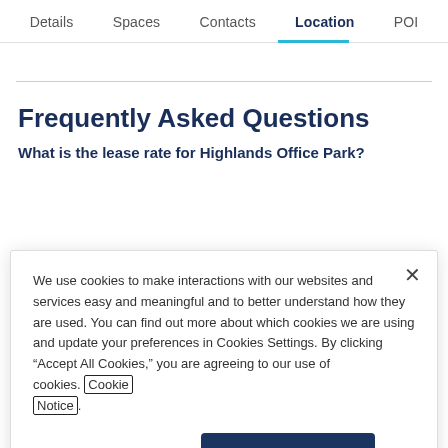Details  Spaces  Contacts  Location  POI
Frequently Asked Questions
What is the lease rate for Highlands Office Park?
We use cookies to make interactions with our websites and services easy and meaningful and to better understand how they are used. You can find out more about which cookies we are using and update your preferences in Cookies Settings. By clicking “Accept All Cookies,” you are agreeing to our use of cookies. Cookie Notice.
Cookies Settings   Accept All Cookies